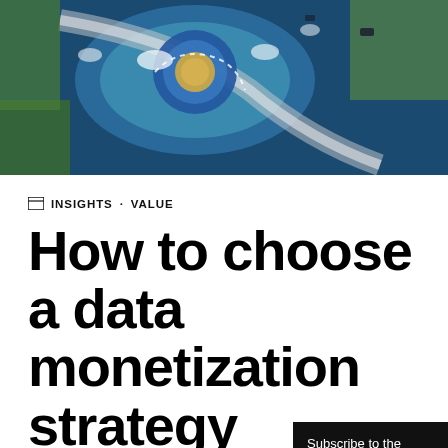[Figure (photo): Aerial drone photograph of a roundabout road intersection with frost-covered trees, blue tones, green fields surrounding]
INSIGHTS · VALUE
How to choose a data monetization strategy
Subscribe to the newsletter